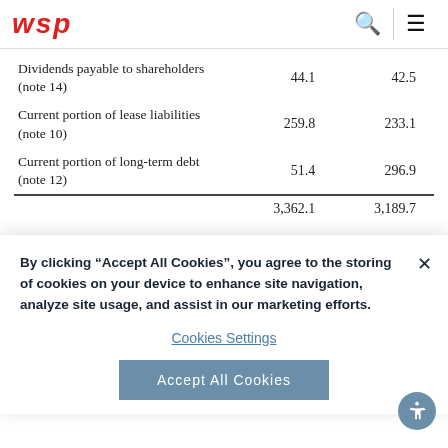WSP logo, search icon, menu icon
|  | Col1 | Col2 |
| --- | --- | --- |
| Dividends payable to shareholders (note 14) | 44.1 | 42.5 |
| Current portion of lease liabilities (note 10) | 259.8 | 233.1 |
| Current portion of long-term debt (note 12) | 51.4 | 296.9 |
|  | 3,362.1 | 3,189.7 |
By clicking “Accept All Cookies”, you agree to the storing of cookies on your device to enhance site navigation, analyze site usage, and assist in our marketing efforts.
Cookies Settings
Accept All Cookies